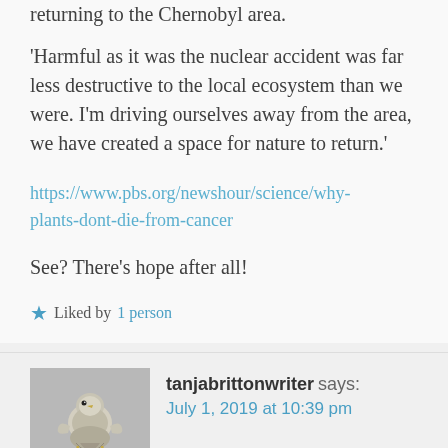returning to the Chernobyl area.
'Harmful as it was the nuclear accident was far less destructive to the local ecosystem than we were. I'm driving ourselves away from the area, we have created a space for nature to return.'
https://www.pbs.org/newshour/science/why-plants-dont-die-from-cancer
See? There's hope after all!
Liked by 1 person
tanjabrittonwriter says: July 1, 2019 at 10:39 pm